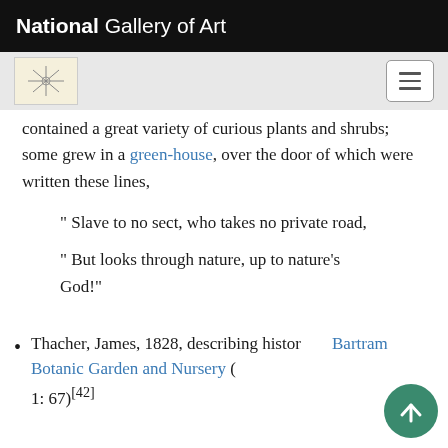National Gallery of Art
contained a great variety of curious plants and shrubs; some grew in a green-house, over the door of which were written these lines,
" Slave to no sect, who takes no private road,
" But looks through nature, up to nature's God!"
Thacher, James, 1828, describing histor… Bartram Botanic Garden and Nursery (… 1: 67)[42]